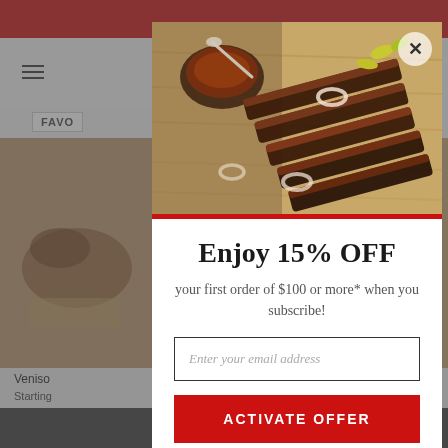[Figure (screenshot): Website background showing navigation bar with hamburger menu and cart icon, product listings for meat products, and bottom dark bar with close button]
[Figure (photo): BBQ brisket sliced on a cutting board with sauce bowl, pickled peppers, and onion rings — modal popup header image]
Enjoy 15% OFF
your first order of $100 or more* when you subscribe!
Enter your email address
ACTIVATE OFFER
No Thank You